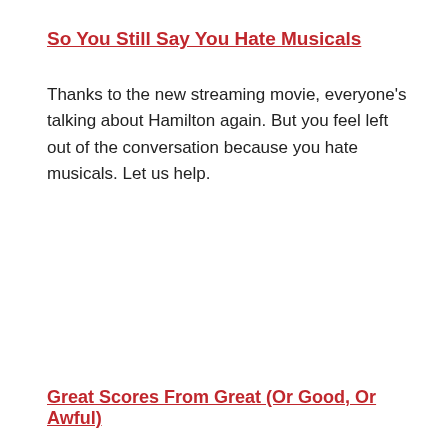So You Still Say You Hate Musicals
Thanks to the new streaming movie, everyone's talking about Hamilton again. But you feel left out of the conversation because you hate musicals. Let us help.
Great Scores From Great (Or Good, Or Awful)